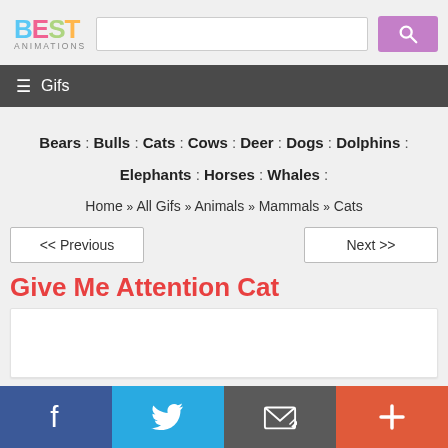BEST ANIMATIONS
☰ Gifs
Bears : Bulls : Cats : Cows : Deer : Dogs : Dolphins : Elephants : Horses : Whales :
Home » All Gifs » Animals » Mammals » Cats
<< Previous | Next >>
Give Me Attention Cat
[Figure (other): White content area placeholder for animated GIF]
f | Twitter | Email | +